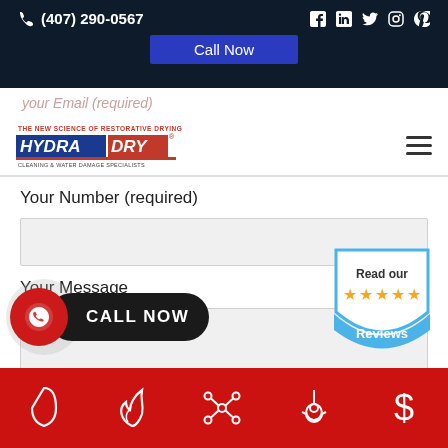(407) 290-0567 | Call Now
[Figure (logo): HydraDry logo - The New Science of Restorative Drying, HYDRA DRY, Cleaning & Water Damage Specialists]
Your Email (required)
Your Number (required)
Your Message
[Figure (screenshot): Call Now floating button with phone icon]
[Figure (infographic): Read our 5-star Reviews badge]
Footer icons: water drop, fire, molecule/network, biohazard, dollar sign